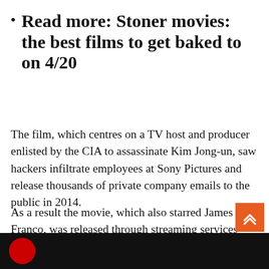Read more: Stoner movies: the best films to get baked to on 4/20
The film, which centres on a TV host and producer enlisted by the CIA to assassinate Kim Jong-un, saw hackers infiltrate employees at Sony Pictures and release thousands of private company emails to the public in 2014.
As a result the movie, which also starred James Franco, was released through streaming services such as Netflix instead of getting a standard wide cinema release in the US.
Eventually being shown in selected cinemas, it was released in the UK in February 2015.
[Figure (photo): Bottom black bar with partial red circular logo visible]